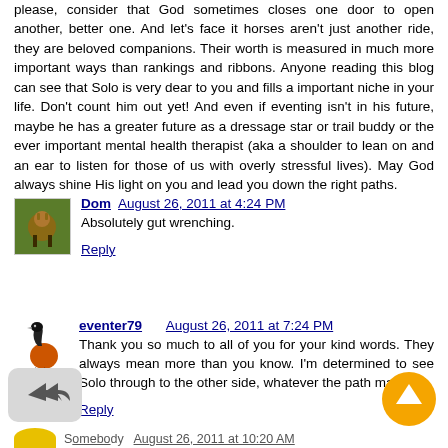please, consider that God sometimes closes one door to open another, better one. And let's face it horses aren't just another ride, they are beloved companions. Their worth is measured in much more important ways than rankings and ribbons. Anyone reading this blog can see that Solo is very dear to you and fills a important niche in your life. Don't count him out yet! And even if eventing isn't in his future, maybe he has a greater future as a dressage star or trail buddy or the ever important mental health therapist (aka a shoulder to lean on and an ear to listen for those of us with overly stressful lives). May God always shine His light on you and lead you down the right paths.
Reply
Dom  August 26, 2011 at 4:24 PM
Absolutely gut wrenching.
Reply
eventer79  August 26, 2011 at 7:24 PM
Thank you so much to all of you for your kind words. They always mean more than you know. I'm determined to see Solo through to the other side, whatever the path may be!!
Reply